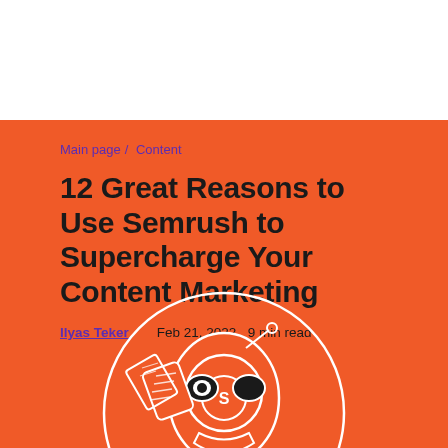Main page / Content
12 Great Reasons to Use Semrush to Supercharge Your Content Marketing
Ilyas Teker   Feb 21, 2022   9 min read
[Figure (illustration): White line-art illustration of a robot/rocket character with the Semrush logo on it, holding documents, on an orange background]